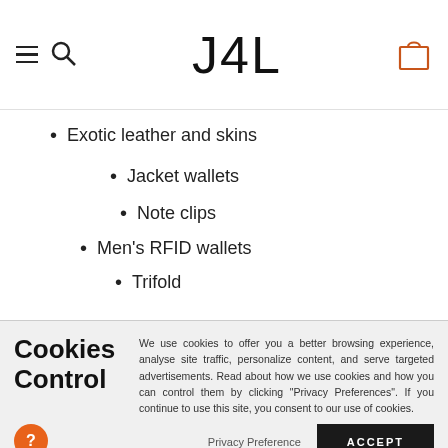J4L — navigation header with menu and cart icons
Exotic leather and skins
Jacket wallets
Note clips
Men's RFID wallets
Trifold
Cookies Control
We use cookies to offer you a better browsing experience, analyse site traffic, personalize content, and serve targeted advertisements. Read about how we use cookies and how you can control them by clicking "Privacy Preferences". If you continue to use this site, you consent to our use of cookies.
Privacy Preference   ACCEPT